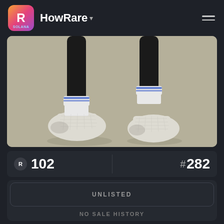HowRare
[Figure (illustration): 3D rendered NFT character feet/legs in black with white socks and white sneakers on a beige/gray background]
R 102
# 282
UNLISTED
NO SALE HISTORY